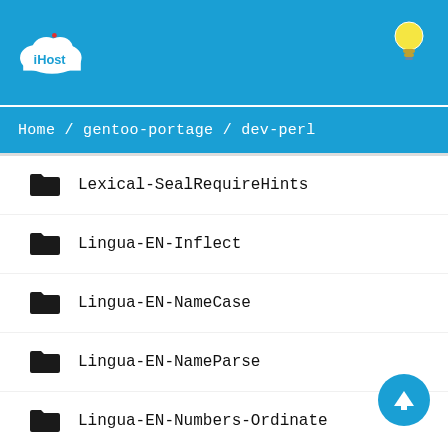[Figure (logo): iHost cloud logo in white on blue background header]
Home / gentoo-portage / dev-perl
Lexical-SealRequireHints
Lingua-EN-Inflect
Lingua-EN-NameCase
Lingua-EN-NameParse
Lingua-EN-Numbers-Ordinate
Lingua-PT-Stemmer